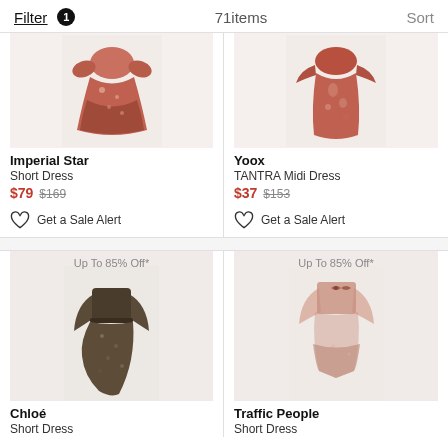Filter 1   71items   Sort
[Figure (photo): Imperial Star Short Dress - red/pink/cream paisley print short dress, partially cropped at top]
Imperial Star
Short Dress
$79 $169
Get a Sale Alert
[Figure (photo): Yoox TANTRA Midi Dress - red/cream paisley print midi dress, partially cropped at top]
Yoox
TANTRA Midi Dress
$37 $153
Get a Sale Alert
Up To 85% Off*
[Figure (photo): Chloé Short Dress - dark brown/olive floral print long-sleeve short dress]
Up To 85% Off*
[Figure (photo): Traffic People Short Dress - pink/dusty rose floral print long-sleeve short dress with bow detail]
Chloé
Short Dress
Traffic People
Short Dress